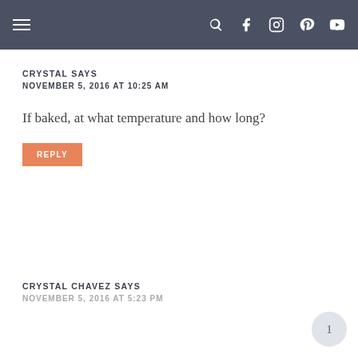Navigation bar with menu and social icons
CRYSTAL SAYS
NOVEMBER 5, 2016 AT 10:25 AM
If baked, at what temperature and how long?
REPLY
CRYSTAL CHAVEZ SAYS
NOVEMBER 5, 2016 AT 5:23 PM